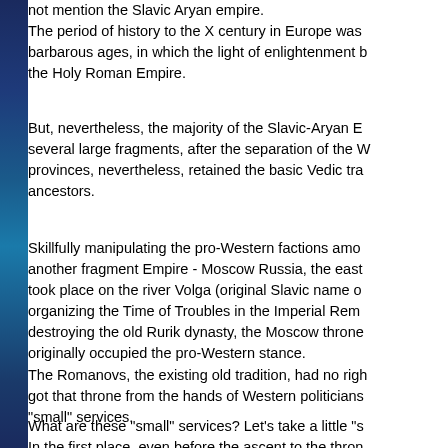not mention the Slavic Aryan empire. The period of history to the X century in Europe was barbarous ages, in which the light of enlightenment b the Holy Roman Empire.
But, nevertheless, the majority of the Slavic-Aryan E several large fragments, after the separation of the W provinces, nevertheless, retained the basic Vedic tra ancestors.
Skillfully manipulating the pro-Western factions amo another fragment Empire - Moscow Russia, the east took place on the river Volga (original Slavic name o organizing the Time of Troubles in the Imperial Rem destroying the old Rurik dynasty, the Moscow throne originally occupied the pro-Western stance.
The Romanovs, the existing old tradition, had no righ got that throne from the hands of Western politicians "small" services.
What are these "small" services? Let's take a little "s In the first place, even before the ascent to the thron power the Romanovs thoroughly walked "broom" for